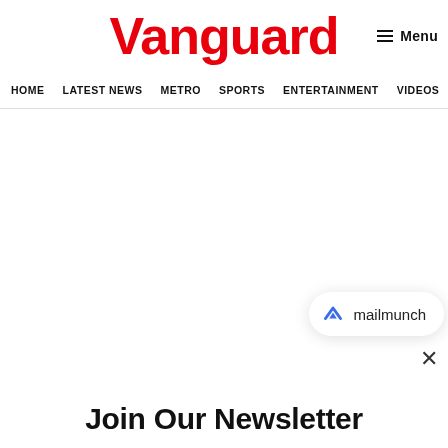Vanguard
Menu
HOME | LATEST NEWS | METRO | SPORTS | ENTERTAINMENT | VIDEOS
[Figure (logo): Mailmunch logo with text 'mailmunch']
Join Our Newsletter